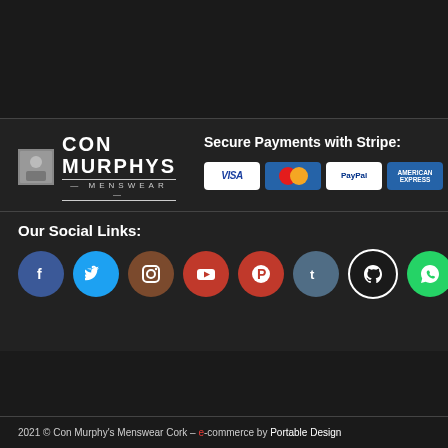[Figure (logo): Con Murphys Menswear logo with small image and text]
Secure Payments with Stripe:
[Figure (infographic): Payment method icons: Visa, Mastercard, PayPal, American Express, Visa, Mastercard]
Our Social Links:
[Figure (infographic): Social media icon buttons: Facebook, Twitter, Instagram, YouTube, Pinterest, Tumblr, GitHub, WhatsApp]
2021 © Con Murphy's Menswear Cork – e-commerce by Portable Design